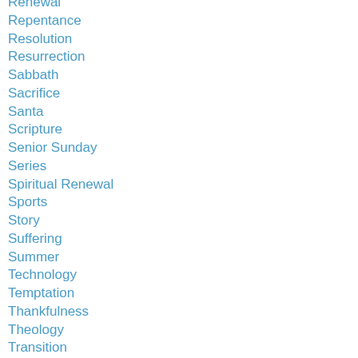Renewal
Repentance
Resolution
Resurrection
Sabbath
Sacrifice
Santa
Scripture
Senior Sunday
Series
Spiritual Renewal
Sports
Story
Suffering
Summer
Technology
Temptation
Thankfulness
Theology
Transition